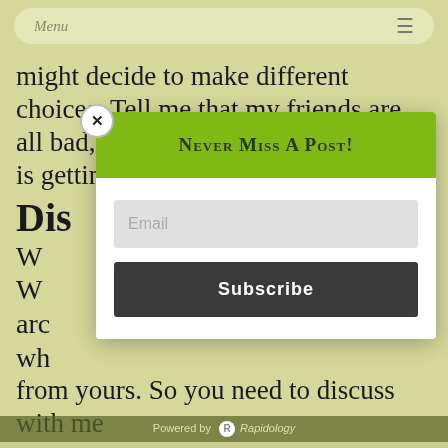Menu
might decide to make different choices. Tell me that my friends are all bad, all you will succeed in doing is getting me to run aw
[Figure (screenshot): Popup modal with green header 'Never Miss A Post!', email input field, and dark Subscribe button]
Dis
W
W
arc
wh
from yours. So you need to discuss with me
Powered by Rapidology